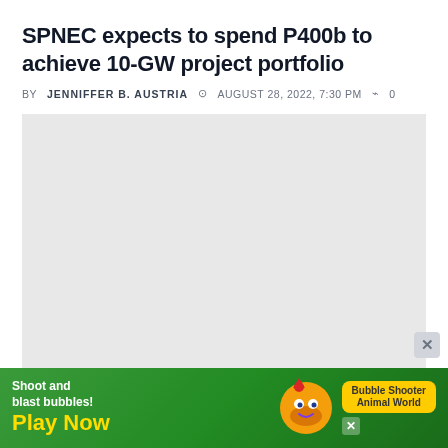SPNEC expects to spend P400b to achieve 10-GW project portfolio
BY JENNIFFER B. AUSTRIA  AUGUST 28, 2022, 7:30 PM  0
[Figure (photo): Large image placeholder area (grey/blank) for article photo]
Renewable energy company Solar Philippines Nueva Ecija Corp. said over the weekend its planned 10 gigawatts of solar projects will...
[Figure (other): Advertisement banner at bottom: 'Shoot and blast bubbles! Play Now' game ad with green background, yellow text and cartoon animal characters. Bubble Shooter Animal World.]